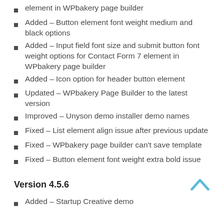element in WPbakery page builder
Added – Button element font weight medium and black options
Added – Input field font size and submit button font weight options for Contact Form 7 element in WPbakery page builder
Added – Icon option for header button element
Updated – WPbakery Page Builder to the latest version
Improved – Unyson demo installer demo names
Fixed – List element align issue after previous update
Fixed – WPbakery page builder can't save template
Fixed – Button element font weight extra bold issue
Version 4.5.6
Added – Startup Creative demo